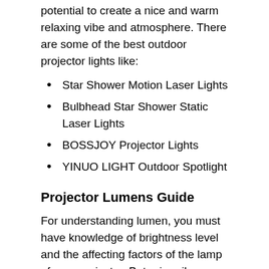potential to create a nice and warm relaxing vibe and atmosphere. There are some of the best outdoor projector lights like:
Star Shower Motion Laser Lights
Bulbhead Star Shower Static Laser Lights
BOSSJOY Projector Lights
YINUO LIGHT Outdoor Spotlight
Projector Lumens Guide
For understanding lumen, you must have knowledge of brightness level and the affecting factors of the lamp of your projector. But primarily, you are being guided to maintain at least 2000 to 2,500 lm of brightness for your projector. Under this parameter, you may get a poor picture quality and poorly rated lumen. But if there is any possibility of